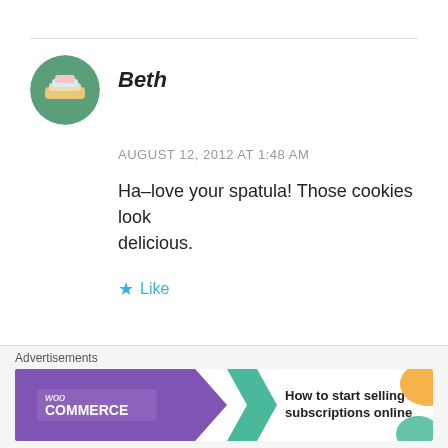Beth
AUGUST 12, 2012 AT 1:48 AM
Ha–love your spatula! Those cookies look delicious.
Like
Advertisements
Advertisements
[Figure (other): WooCommerce advertisement banner: How to start selling subscriptions online]